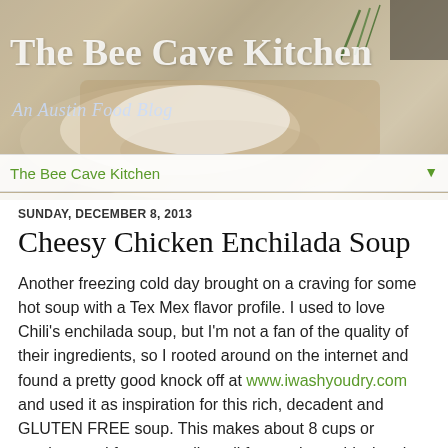[Figure (photo): Food blog header image showing a creamy dish on a wooden board with herbs, warm tones]
The Bee Cave Kitchen
An Austin Food Blog
The Bee Cave Kitchen
SUNDAY, DECEMBER 8, 2013
Cheesy Chicken Enchilada Soup
Another freezing cold day brought on a craving for some hot soup with a Tex Mex flavor profile. I used to love Chili's enchilada soup, but I'm not a fan of the quality of their ingredients, so I rooted around on the internet and found a pretty good knock off at www.iwashyoudry.com and used it as inspiration for this rich, decadent and GLUTEN FREE soup. This makes about 8 cups or servings and freezes really well for another cold winter's eve.